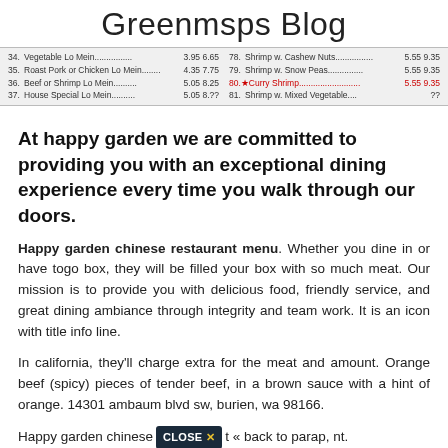Greenmsps Blog
[Figure (table-as-image): Partial menu strip showing items 34-37 and 78-81 with prices, including highlighted item 80 Curry Shrimp in red]
At happy garden we are committed to providing you with an exceptional dining experience every time you walk through our doors.
Happy garden chinese restaurant menu. Whether you dine in or have togo box, they will be filled your box with so much meat. Our mission is to provide you with delicious food, friendly service, and great dining ambiance through integrity and team work. It is an icon with title info line.
In california, they'll charge extra for the meat and amount. Orange beef (spicy) pieces of tender beef, in a brown sauce with a hint of orange. 14301 ambaum blvd sw, burien, wa 98166.
Happy garden chinese [CLOSE X] « back to parap, nt.